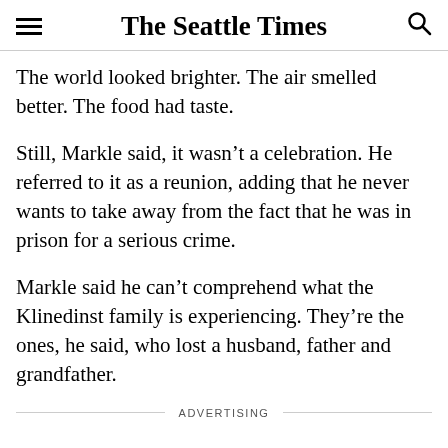The Seattle Times
The world looked brighter. The air smelled better. The food had taste.
Still, Markle said, it wasn't a celebration. He referred to it as a reunion, adding that he never wants to take away from the fact that he was in prison for a serious crime.
Markle said he can't comprehend what the Klinedinst family is experiencing. They're the ones, he said, who lost a husband, father and grandfather.
ADVERTISING
“I know it has to be so hard for them to even fathom. I believe they had closure for so many years, and to